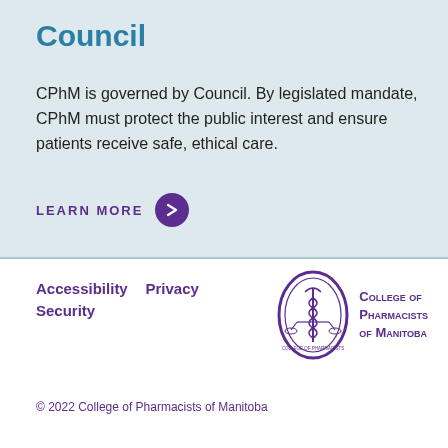Council
CPhM is governed by Council. By legislated mandate, CPhM must protect the public interest and ensure patients receive safe, ethical care.
LEARN MORE →
Accessibility   Privacy   Security
[Figure (logo): College of Pharmacists of Manitoba seal logo with purple crest and text]
© 2022 College of Pharmacists of Manitoba